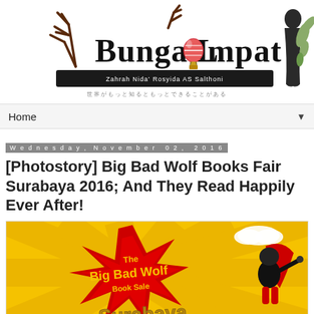[Figure (logo): Bunga Lompat blog logo with antlers, hot air balloon, decorative text 'Zahrah Nida' Rosyida AS Salthoni' on black brushstroke, Japanese characters below, and silhouette of woman with floral pattern on right]
Home ▼
Wednesday, November 02, 2016
[Photostory] Big Bad Wolf Books Fair Surabaya 2016; And They Read Happily Ever After!
[Figure (photo): Big Bad Wolf Book Sale Surabaya promotional banner with yellow sunburst background, red and black explosion graphic, text 'The Big Bad Wolf Book Sale Surabaya' in yellow and gold, and superhero wolf character flying on right]